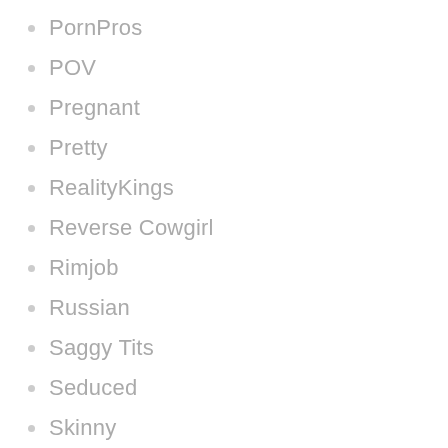PornPros
POV
Pregnant
Pretty
RealityKings
Reverse Cowgirl
Rimjob
Russian
Saggy Tits
Seduced
Skinny
Skirt